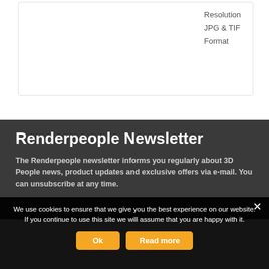Resolution
JPG & TIF
Format
Renderpeople Newsletter
The Renderpeople newsletter informs you regularly about 3D People news, product updates and exclusive offers via e-mail. You can unsubscribe at any time.
We use cookies to ensure that we give you the best experience on our website. If you continue to use this site we will assume that you are happy with it.